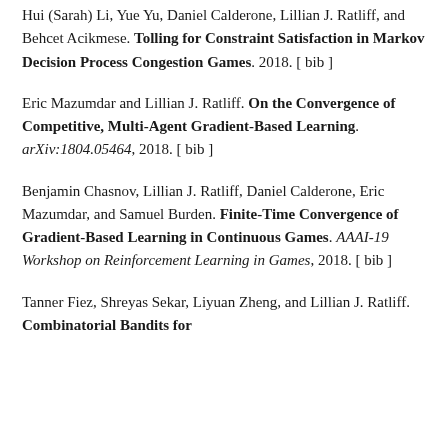Hui (Sarah) Li, Yue Yu, Daniel Calderone, Lillian J. Ratliff, and Behcet Acikmese. Tolling for Constraint Satisfaction in Markov Decision Process Congestion Games. 2018. [ bib ]
Eric Mazumdar and Lillian J. Ratliff. On the Convergence of Competitive, Multi-Agent Gradient-Based Learning. arXiv:1804.05464, 2018. [ bib ]
Benjamin Chasnov, Lillian J. Ratliff, Daniel Calderone, Eric Mazumdar, and Samuel Burden. Finite-Time Convergence of Gradient-Based Learning in Continuous Games. AAAI-19 Workshop on Reinforcement Learning in Games, 2018. [ bib ]
Tanner Fiez, Shreyas Sekar, Liyuan Zheng, and Lillian J. Ratliff. Combinatorial Bandits for